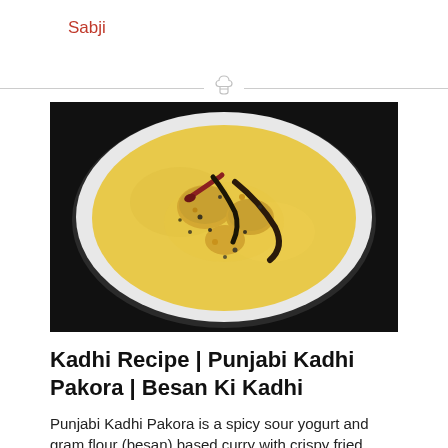Sabji
[Figure (photo): A white bowl containing Punjabi Kadhi Pakora — a yellow/golden spicy yogurt and gram flour gravy with fried dumplings (pakoras), garnished with black pepper, dried red chilies, and curry leaves, photographed from above on a dark background.]
Kadhi Recipe | Punjabi Kadhi Pakora | Besan Ki Kadhi
Punjabi Kadhi Pakora is a spicy sour yogurt and gram flour (besan) based curry with crispy fried